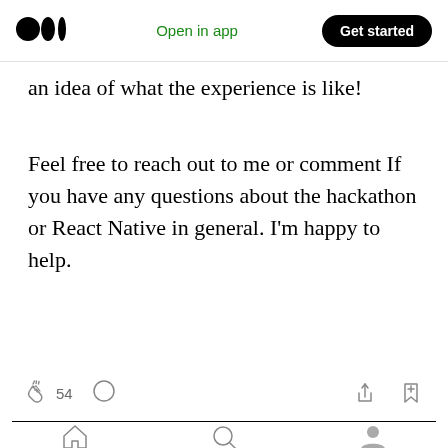Medium logo | Open in app | Get started
an idea of what the experience is like!
Feel free to reach out to me or comment If you have any questions about the hackathon or React Native in general. I'm happy to help.
[Figure (screenshot): Article action bar with clap icon showing 54 claps, comment icon, share icon, and bookmark icon]
[Figure (screenshot): Bottom navigation bar with home, search, and profile icons]